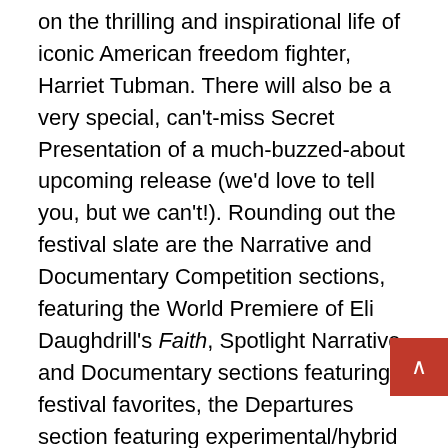on the thrilling and inspirational life of iconic American freedom fighter, Harriet Tubman. There will also be a very special, can't-miss Secret Presentation of a much-buzzed-about upcoming release (we'd love to tell you, but we can't!). Rounding out the festival slate are the Narrative and Documentary Competition sections, featuring the World Premiere of Eli Daughdrill's Faith, Spotlight Narrative and Documentary sections featuring festival favorites, the Departures section featuring experimental/hybrid films that divert from expectations, the music-centric Sounds section, and the Hometowner section, filled with films by Memphis-based artists.
“Our program this year is full of eccentric characters, and I think Memphis audiences are going to show these films some love,” says Indie Memphis Artistic Director Miriam Bale. “Our narrative films, especially, are dominated by